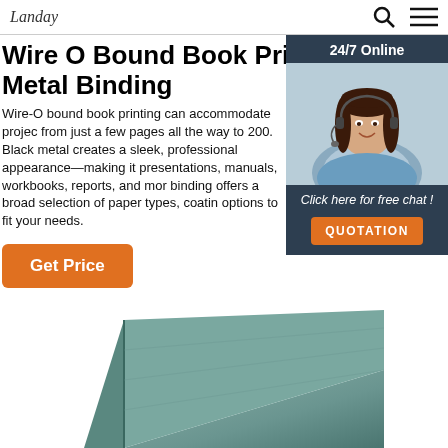Landay | Search | Menu
Wire O Bound Book Printing & Metal Binding
Wire-O bound book printing can accommodate projects from just a few pages all the way to 200. Black metal creates a sleek, professional appearance—making it presentations, manuals, workbooks, reports, and more. binding offers a broad selection of paper types, coatings options to fit your needs.
[Figure (photo): Customer service agent with headset, 24/7 Online chat widget with dark blue background and orange QUOTATION button]
Get Price
[Figure (photo): Green/teal wire-o bound book shown from above at an angle]